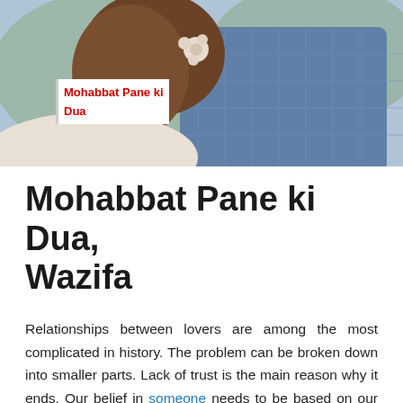[Figure (photo): A couple photographed from behind, woman with floral hair accessory and man in blue checked blazer, outdoor blurred background]
Mohabbat Pane ki Dua
Mohabbat Pane ki Dua, Wazifa
Relationships between lovers are among the most complicated in history. The problem can be broken down into smaller parts. Lack of trust is the main reason why it ends. Our belief in someone needs to be based on our love for him or her.
A relationship cannot function without the trust and love of both parties. However, due to misunderstandings, the relationship comes to a halt and the trust between them is